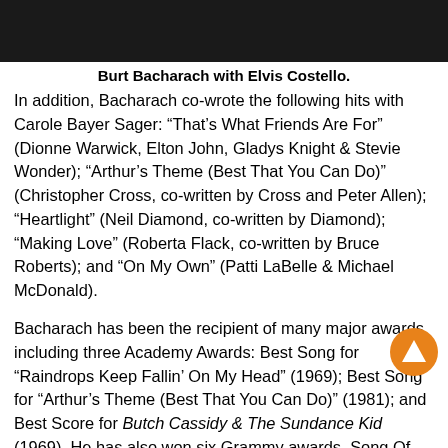[Figure (photo): Dark photo strip showing Burt Bacharach with Elvis Costello]
Burt Bacharach with Elvis Costello.
In addition, Bacharach co-wrote the following hits with Carole Bayer Sager: “That’s What Friends Are For” (Dionne Warwick, Elton John, Gladys Knight & Stevie Wonder); “Arthur’s Theme (Best That You Can Do)” (Christopher Cross, co-written by Cross and Peter Allen); “Heartlight” (Neil Diamond, co-written by Diamond); “Making Love” (Roberta Flack, co-written by Bruce Roberts); and “On My Own” (Patti LaBelle & Michael McDonald).
Bacharach has been the recipient of many major awards, including three Academy Awards: Best Song for “Raindrops Keep Fallin’ On My Head” (1969); Best Song for “Arthur’s Theme (Best That You Can Do)” (1981); and Best Score for Butch Cassidy & The Sundance Kid (1969). He has also won six Grammy awards. Song Of The Year for “That’s What Friends Are